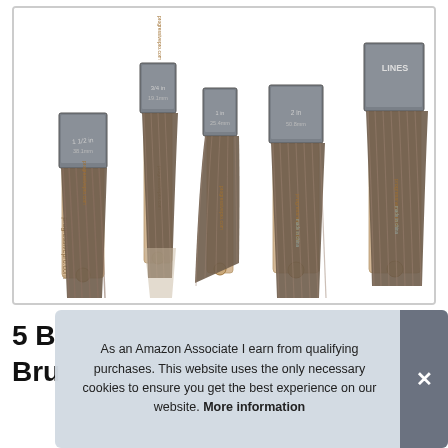[Figure (photo): Five paint brushes with wooden handles arranged side by side showing different sizes. The brushes have metal ferrules and synthetic/natural bristles in shades of grey-brown. The handles are light natural wood with hole at the bottom. Visible text on ferrules includes size markings and brand markings 'LINES'. The brushes appear to be a set including angled and flat types.]
5 B
Bru
As an Amazon Associate I earn from qualifying purchases. This website uses the only necessary cookies to ensure you get the best experience on our website. More information